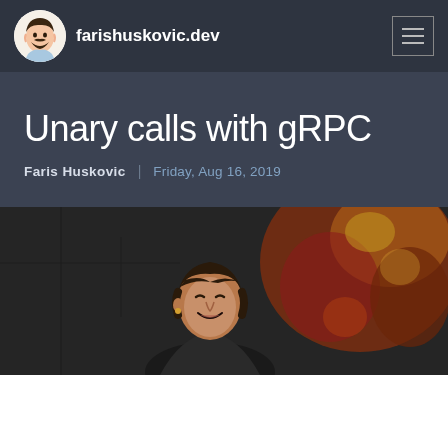farishuskovic.dev
Unary calls with gRPC
Faris Huskovic  Friday, Aug 16, 2019
[Figure (photo): A person leaning forward and smiling, photographed indoors with a decorative background featuring warm tones of red, orange, and gold patterns.]